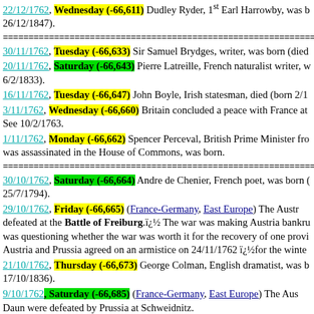22/12/1762, Wednesday (-66,611) Dudley Ryder, 1st Earl Harrowby, was born (died 26/12/1847).
========================================
30/11/1762, Tuesday (-66,633) Sir Samuel Brydges, writer, was born (died ...
20/11/1762, Saturday (-66,643) Pierre Latreille, French naturalist writer, was born (died 6/2/1833).
16/11/1762, Tuesday (-66,647) John Boyle, Irish statesman, died (born 2/1/...)
3/11/1762, Wednesday (-66,660) Britain concluded a peace with France at ... See 10/2/1763.
1/11/1762, Monday (-66,662) Spencer Perceval, British Prime Minister from ... was assassinated in the House of Commons, was born.
========================================
30/10/1762, Saturday (-66,664) Andre de Chenier, French poet, was born (died 25/7/1794).
29/10/1762, Friday (-66,665) (France-Germany, East Europe) The Austria... defeated at the Battle of Freiburg. The war was making Austria bankrupt... was questioning whether the war was worth it for the recovery of one province... Austria and Prussia agreed on an armistice on 24/11/1762 for the winter...
21/10/1762, Thursday (-66,673) George Colman, English dramatist, was born (died 17/10/1836).
9/10/1762, Saturday (-66,685) (France-Germany, East Europe) The Aus... Daun were defeated by Prussia at Schweidnitz.
5/10/1762, Tuesday (-66,689) The British captured Manila, Philippines, from...
========================================
24/9/1762, Friday (-66,700) William Bowles, English poet, was born in Northamptonshire (died in Salisbury 7/4/1850).
20/9/1762, Monday (-66,704) Pierre Erancine, French historian...